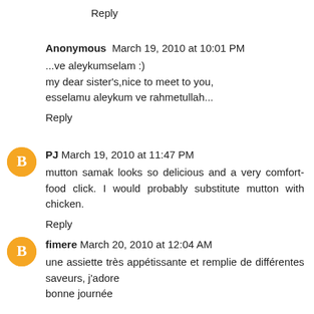Reply
Anonymous March 19, 2010 at 10:01 PM
...ve aleykumselam :)
my dear sister's,nice to meet to you,
esselamu aleykum ve rahmetullah...
Reply
PJ March 19, 2010 at 11:47 PM
mutton samak looks so delicious and a very comfort-food click. I would probably substitute mutton with chicken.
Reply
fimere March 20, 2010 at 12:04 AM
une assiette très appétissante et remplie de différentes saveurs, j'adore
bonne journée